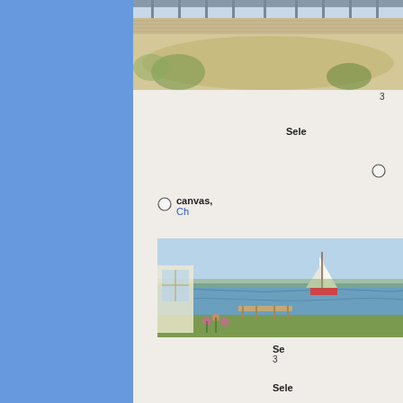[Figure (illustration): Coastal scene with wooden deck/boardwalk and sandy beach area, top-cropped view]
3
Select
canvas,  Ch
[Figure (illustration): Coastal/harbor scene with sailboat on water, viewed from garden with flowers]
Se 3
Sele